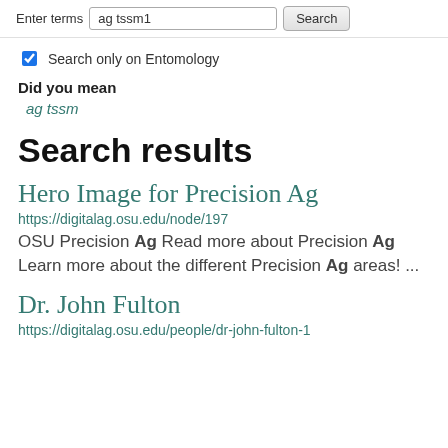Enter terms  ag tssm1   Search
Search only on Entomology
Did you mean
ag tssm
Search results
Hero Image for Precision Ag
https://digitalag.osu.edu/node/197
OSU Precision Ag Read more about Precision Ag Learn more about the different Precision Ag areas! ...
Dr. John Fulton
https://digitalag.osu.edu/people/dr-john-fulton-1